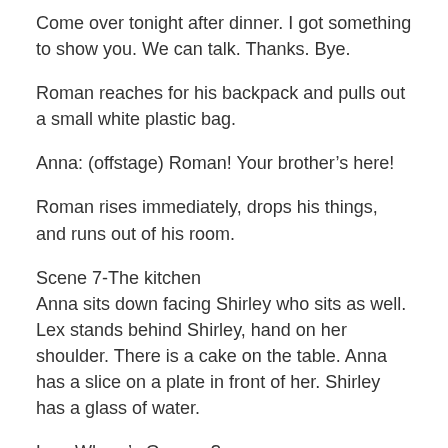Come over tonight after dinner. I got something to show you. We can talk. Thanks. Bye.
Roman reaches for his backpack and pulls out a small white plastic bag.
Anna: (offstage) Roman! Your brother’s here!
Roman rises immediately, drops his things, and runs out of his room.
Scene 7-The kitchen
Anna sits down facing Shirley who sits as well. Lex stands behind Shirley, hand on her shoulder. There is a cake on the table. Anna has a slice on a plate in front of her. Shirley has a glass of water.
Lex: Where’s Grampa?